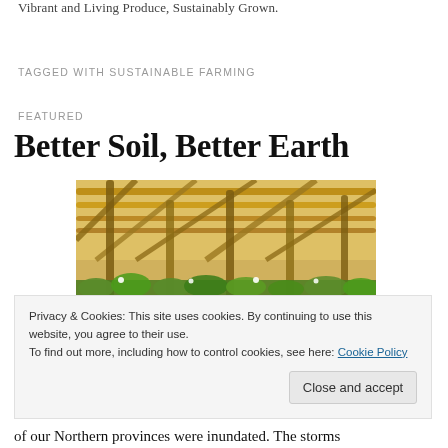Vibrant and Living Produce, Sustainably Grown.
TAGGED WITH SUSTAINABLE FARMING
FEATURED
Better Soil, Better Earth
[Figure (photo): Interior of a greenhouse with bamboo/wooden structural supports and green plants growing below]
Privacy & Cookies: This site uses cookies. By continuing to use this website, you agree to their use.
To find out more, including how to control cookies, see here: Cookie Policy
of our Northern provinces were inundated. The storms